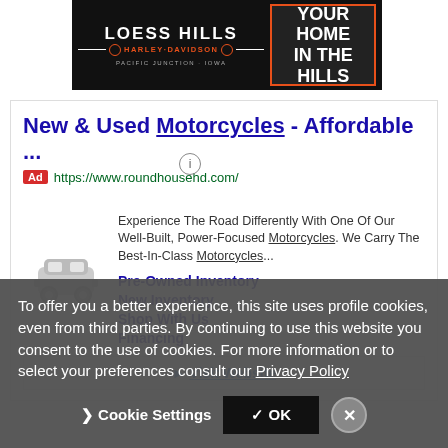[Figure (logo): Loess Hills Harley-Davidson banner ad: black background with orange/white logo on left and 'YOUR HOME IN THE HILLS' text on right with orange border]
New & Used Motorcycles - Affordable ...
Ad https://www.roundhousehd.com/
Experience The Road Differently With One Of Our Well-Built, Power-Focused Motorcycles. We Carry The Best-In-Class Motorcycles...
Pre-Owned Inventory
New Inventory
Shop With Us
Financing
Visit Website
To offer you a better experience, this site uses profile cookies, even from third parties. By continuing to use this website you consent to the use of cookies. For more information or to select your preferences consult our Privacy Policy
Cookie Settings  ✓ OK  ✕